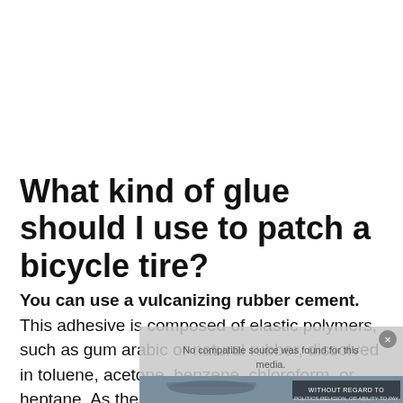What kind of glue should I use to patch a bicycle tire?
You can use a vulcanizing rubber cement. This adhesive is composed of elastic polymers, such as gum arabic or natural rubber, dissolved in toluene, acetone, benzene, chloroform, or heptane. As the
[Figure (screenshot): A video player overlay showing 'No compatible source was found for this media.' with a thumbnail of an airplane/cargo scene and a 'WITHOUT REGARD TO' text banner.]